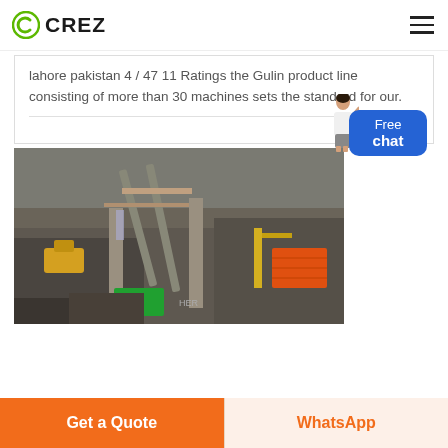CREZ
lahore pakistan 4 / 47 11 Ratings the Gulin product line consisting of more than 30 machines sets the standard for our.
Read Mo
[Figure (photo): Aerial view of a mining or quarrying site with conveyor belts, heavy machinery, and rocky terrain. Yellow construction equipment and an orange shipping container visible.]
Get a Quote
WhatsApp